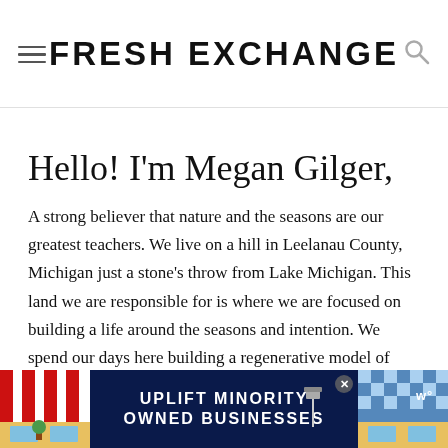FRESH EXCHANGE
Hello! I'm Megan Gilger,
A strong believer that nature and the seasons are our greatest teachers. We live on a hill in Leelanau County, Michigan just a stone's throw from Lake Michigan. This land we are responsible for is where we are focused on building a life around the seasons and intention. We spend our days here building a regenerative model of living and focusing our garden on native plants and intensive polyculture planting styles. My focus is less on self-sufficiency and more on community-sufficiency through how... Le...
[Figure (screenshot): Advertisement banner: 'UPLIFT MINORITY OWNED BUSINESSES' with red striped and blue checkered patterns on sides, close button visible]